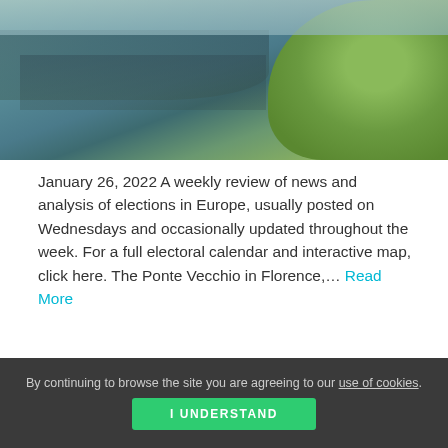[Figure (photo): Scenic view of a riverside town, likely Florence with the Ponte Vecchio, showing buildings reflected in water with green hillside, viewed from above]
January 26, 2022 A weekly review of news and analysis of elections in Europe, usually posted on Wednesdays and occasionally updated throughout the week. For a full electoral calendar and interactive map, click here. The Ponte Vecchio in Florence,… Read More
Category: This Week  Tags: Bosnia and Herzegovina, Bulgaria, Cyprus, Czech Republic, Finland, France, Germany, Hungary, Italy, Malta, Montenegro, North Macedonia, Portugal, Serbia, Slovenia, United Kingdom